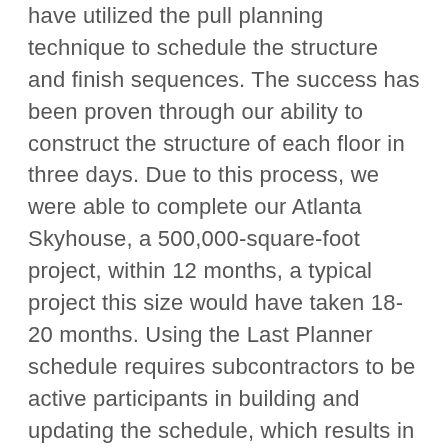have utilized the pull planning technique to schedule the structure and finish sequences. The success has been proven through our ability to construct the structure of each floor in three days. Due to this process, we were able to complete our Atlanta Skyhouse, a 500,000-square-foot project, within 12 months, a typical project this size would have taken 18-20 months. Using the Last Planner schedule requires subcontractors to be active participants in building and updating the schedule, which results in a six-week look-ahead and weekly details of their planned work. This has forced more accountability on the subcontractor to meet their own schedules and has spurred open communication amongst the trades. Open communication and trust are critical to lean construction and using the last planner scheduling techniques.